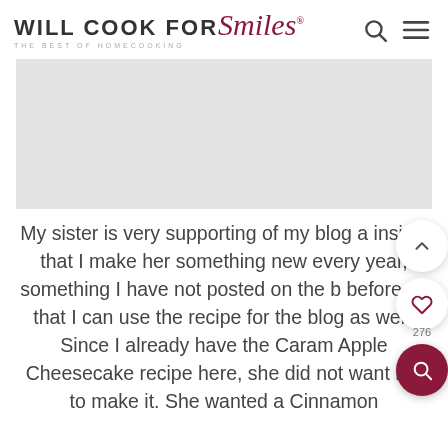[Figure (logo): Will Cook For Smiles logo with script font for 'Smiles' in dark red, subtitle 'THE BEST OF HOMECOOKING']
[Figure (photo): Gray placeholder image area, likely a food photo]
My sister is very supporting of my blog and insists that I make her something new every year, something I have not posted on the blog before so that I can use the recipe for the blog as well. Since I already have the Caramel Apple Cheesecake recipe here, she did not want me to make it. She wanted a Cinnamon